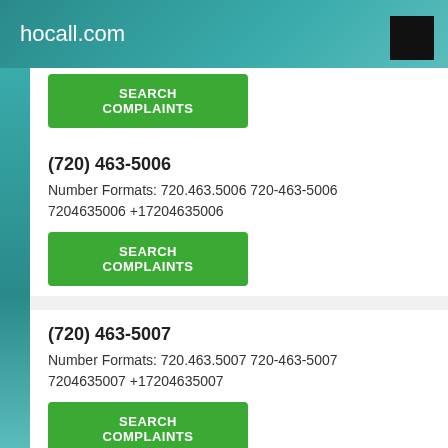hocall.com
SEARCH COMPLAINTS
(720) 463-5006
Number Formats: 720.463.5006 720-463-5006 7204635006 +17204635006
SEARCH COMPLAINTS
(720) 463-5007
Number Formats: 720.463.5007 720-463-5007 7204635007 +17204635007
SEARCH COMPLAINTS
(720) 463-5008
Number Formats: 720.463.5008 720-463-5008 7204635008 +17204635008
SEARCH COMPLAINTS